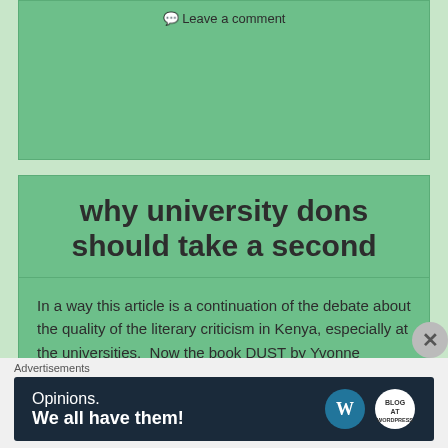Leave a comment
why university dons should take a second
In a way this article is a continuation of the debate about the quality of the literary criticism in Kenya, especially at the universities.  Now the book DUST by Yvonne Adhiambo Owuor is taken as an example.
31 October 2015   Africa, books, Kenya, Literature,
Yvonne Adhiambo Owuor,   Africa, books, Kenya, literature
Advertisements
[Figure (other): WordPress advertisement banner with text 'Opinions. We all have them!' and WordPress and blog logos on dark background]